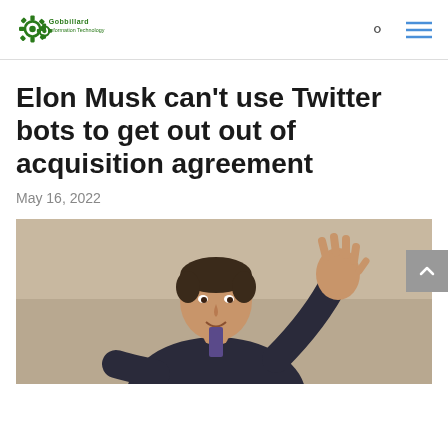Gobbillard Information Technology logo with search and menu icons
Elon Musk can't use Twitter bots to get out out of acquisition agreement
May 16, 2022
[Figure (photo): Photo of Elon Musk waving, wearing a dark suit, against a light background]